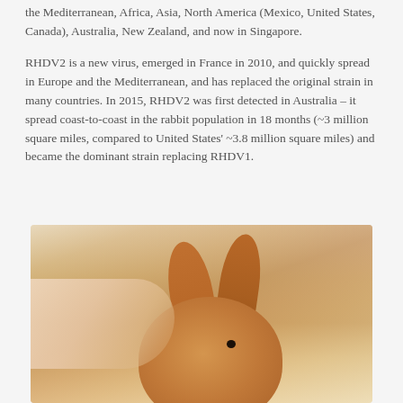the Mediterranean, Africa, Asia, North America (Mexico, United States, Canada), Australia, New Zealand, and now in Singapore.
RHDV2 is a new virus, emerged in France in 2010, and quickly spread in Europe and the Mediterranean, and has replaced the original strain in many countries. In 2015, RHDV2 was first detected in Australia – it spread coast-to-coast in the rabbit population in 18 months (~3 million square miles, compared to United States' ~3.8 million square miles) and became the dominant strain replacing RHDV1.
[Figure (photo): Close-up photograph of an orange/tan rabbit being petted by a human hand, with a blurred warm beige background.]